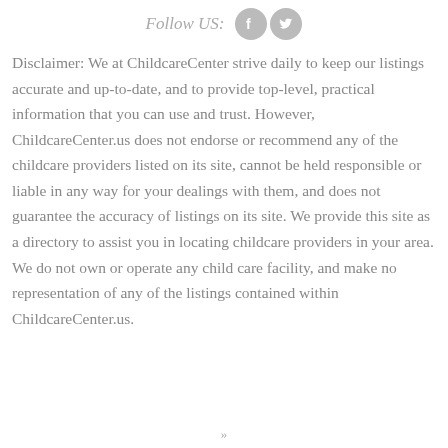[Figure (other): Follow US: text with Facebook and Twitter social media icons]
Disclaimer: We at ChildcareCenter strive daily to keep our listings accurate and up-to-date, and to provide top-level, practical information that you can use and trust. However, ChildcareCenter.us does not endorse or recommend any of the childcare providers listed on its site, cannot be held responsible or liable in any way for your dealings with them, and does not guarantee the accuracy of listings on its site. We provide this site as a directory to assist you in locating childcare providers in your area. We do not own or operate any child care facility, and make no representation of any of the listings contained within ChildcareCenter.us.
»